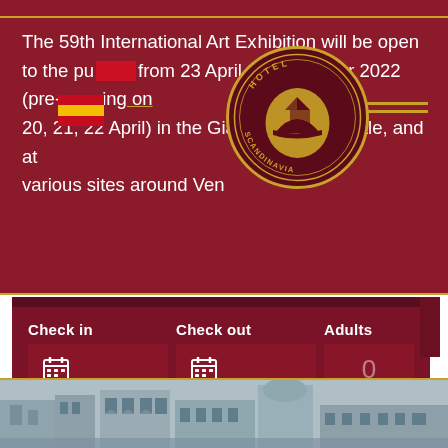The 59th International Art Exhibition will be open to the public from 23 April to 27 November 2022 (pre-opening on 20, 21, 22 April) in the Giardini, the Arsenale, and at various sites around Venice.
[Figure (logo): Hotel Scandinavia circular seal/logo with a sailing ship in the center, gold on dark background]
[Figure (screenshot): Hotel booking form with Check in, Check out, Adults (0), Children (0) fields and a gold SEARCH button on dark red background]
[Figure (photo): Bottom portion showing Venice architecture/buildings]